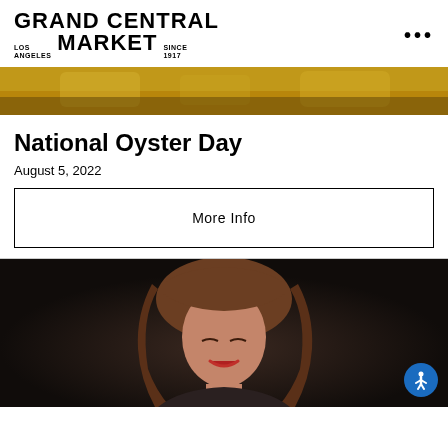GRAND CENTRAL MARKET LOS ANGELES SINCE 1917
[Figure (photo): Cropped top portion of a food photo showing yellow/golden colored food items, likely oysters, on a dark background.]
National Oyster Day
August 5, 2022
More Info
[Figure (photo): Portrait photo of a woman with brown hair and bangs, looking down, against a dark background. An accessibility button is visible in the lower right corner.]